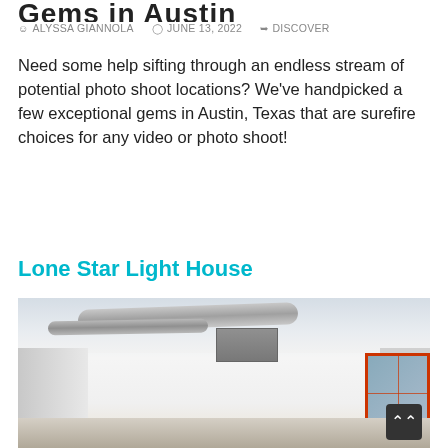Gems in Austin
ALYSSA GIANNOLA   JUNE 13, 2022   DISCOVER
Need some help sifting through an endless stream of potential photo shoot locations? We've handpicked a few exceptional gems in Austin, Texas that are surefire choices for any video or photo shoot!
Lone Star Light House
[Figure (photo): Interior of Lone Star Light House studio space showing white walls, exposed ceiling with silver HVAC ducts and pipes, a wall-mounted AC unit, recessed lighting, and a window with red frame on the right wall.]